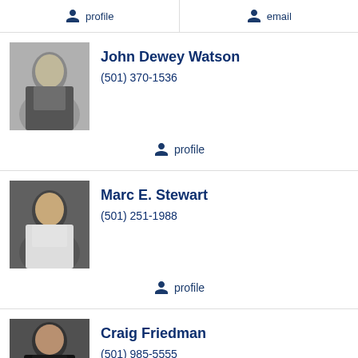profile
email
John Dewey Watson
(501) 370-1536
profile
Marc E. Stewart
(501) 251-1988
profile
Craig Friedman
(501) 985-5555